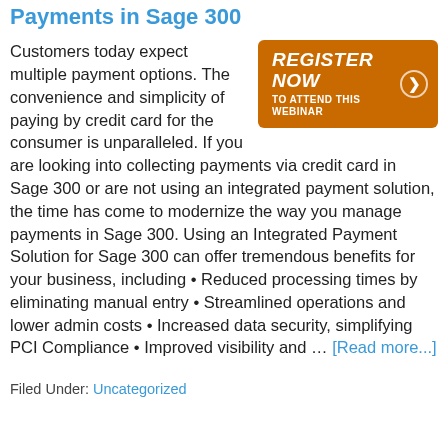Payments in Sage 300
[Figure (other): Orange 'Register Now to Attend This Webinar' button with arrow]
Customers today expect multiple payment options. The convenience and simplicity of paying by credit card for the consumer is unparalleled. If you are looking into collecting payments via credit card in Sage 300 or are not using an integrated payment solution, the time has come to modernize the way you manage payments in Sage 300. Using an Integrated Payment Solution for Sage 300 can offer tremendous benefits for your business, including • Reduced processing times by eliminating manual entry • Streamlined operations and lower admin costs • Increased data security, simplifying PCI Compliance • Improved visibility and … [Read more...]
Filed Under: Uncategorized